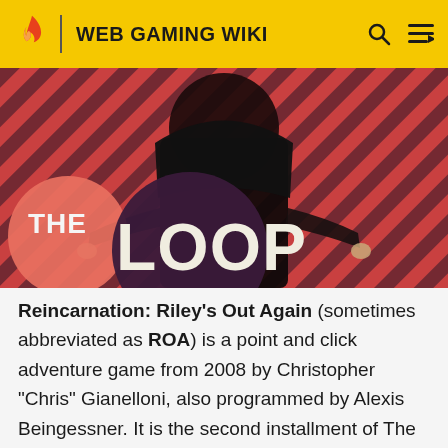WEB GAMING WIKI
[Figure (photo): Hero banner image showing a dark-robed figure against a diagonal red and dark striped background, with 'THE LOOP' text overlay in large white letters on a dark purple circle and salmon-colored circle.]
Reincarnation: Riley's Out Again (sometimes abbreviated as ROA) is a point and click adventure game from 2008 by Christopher "Chris" Gianelloni, also programmed by Alexis Beingessner. It is the second installment of The Reincarnation Series, preceded by Reincarnation: A Demon's Day Out and followed by the minigame Reincarnation: Out to Sea You Die. The series follows a nameless demon whom has been sent to the Earth By...